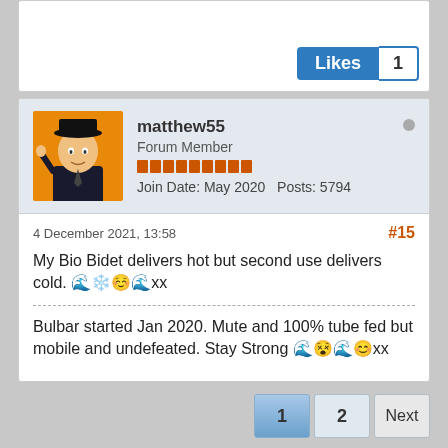[Figure (illustration): Likes button with count 1 at top right of card]
Likes 1
matthew55
Forum Member
Join Date: May 2020   Posts: 5794
4 December 2021, 13:58
#15
My Bio Bidet delivers hot but second use delivers cold. 🌊❄️☺️🌊xx
Bulbar started Jan 2020. Mute and 100% tube fed but mobile and undefeated. Stay Strong 🌊😵🌊😊xx
1   2   Next